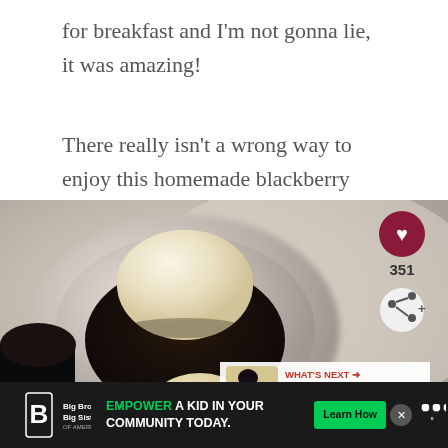for breakfast and I'm not gonna lie, it was amazing!
There really isn't a wrong way to enjoy this homemade blackberry cobbler recipe!
[Figure (photo): Close-up photo of blackberry cobbler with a scoop of vanilla ice cream in a white bowl, with another small scoop of ice cream in the foreground, on a blurred gray background. Overlaid with a heart/favorite button showing 351 saves and a share button. A 'What's Next' panel shows Easy Blueberry...]
EMPOWER A KID IN YOUR COMMUNITY TODAY. Learn How